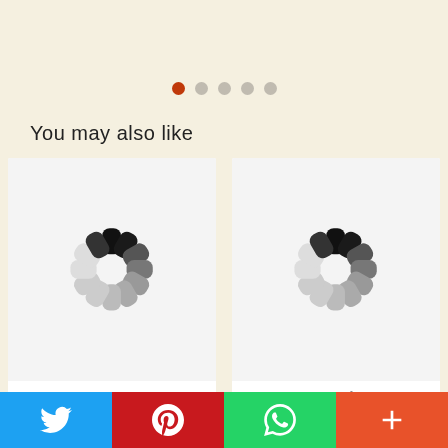[Figure (other): Carousel pagination dots — 5 dots, first one active (orange-red), rest grey]
You may also like
[Figure (other): Loading spinner animation placeholder for product image — Carnival on Canvas]
Carnival on Canvas ▶
Canvas Hand Painted Bag ▶
[Figure (other): Loading spinner animation placeholder for product image — Floral carousels II]
Floral carousels II ✳
Vegetable Colors Airakh T
[Figure (other): Social sharing bar with Twitter, Pinterest, WhatsApp, and more (+) buttons]